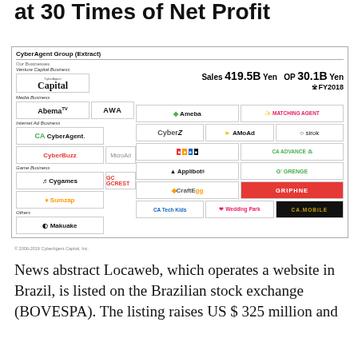at 30 Times of Net Profit
[Figure (infographic): CyberAgent Group (Extract) business diagram showing subsidiary logos organized by business category: Venture Capital Business (Capital), Media Business (AbemaTV, AWA, Ameba, Matching Agent), Internet Ad Business (CyberAgent, CyberZ, AMoAd, sirok, CyberBuzz, MicroAd, colorful logos, CA ADVANCE), Game Business (Cygames, GC GCREST, Applibot, GRENGE, Sumzap, GRIPHNE, Craft Egg), Others (Makuake, CA Tech Kids, Wedding Park, CA.MOBILE). Sales 419.5B Yen OP 30.1B Yen ※FY2018]
© 2006-2019 CyberAgent Capital, Inc.
News abstract Locaweb, which operates a website in Brazil, is listed on the Brazilian stock exchange (BOVESPA). The listing raises US $ 325 million and